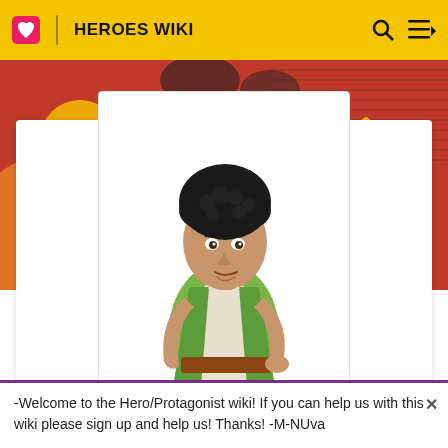HEROES WIKI
[Figure (illustration): Banner image for 'The Loop' - colorful illustrated banner with text 'THE LOOP' in large white letters on a yellow/red illustrated background with cartoon candles and festive decoration]
[Figure (illustration): Character illustration of a young man with curly dark hair, wearing a green tunic/vest over a white shirt with a brown belt, standing with one hand on his hip]
-Welcome to the Hero/Protagonist wiki! If you can help us with this wiki please sign up and help us! Thanks! -M-NUva